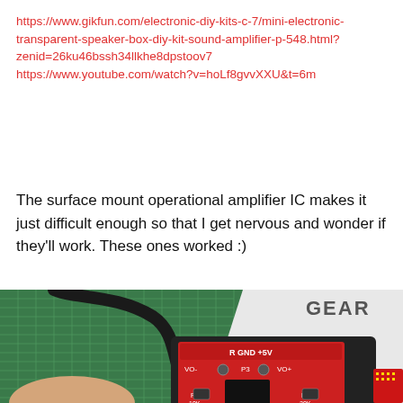https://www.gikfun.com/electronic-diy-kits-c-7/mini-electronic-transparent-speaker-box-diy-kit-sound-amplifier-p-548.html?zenid=26ku46bssh34llkhe8dpstoov7
https://www.youtube.com/watch?v=hoLf8gvvXXU&t=6m
The surface mount operational amplifier IC makes it just difficult enough so that I get nervous and wonder if they'll work. These ones worked :)
[Figure (photo): Close-up photo of a red PCB circuit board (amplifier kit) being held against a green cutting mat background. The PCB shows labels including R GND +5V, VO-, P3, VO+, R2 10K, R3 20K, U1 DD02, and has an IC chip and other components soldered on. A black cable curves across the top. A second smaller red PCB is partially visible on the right side.]